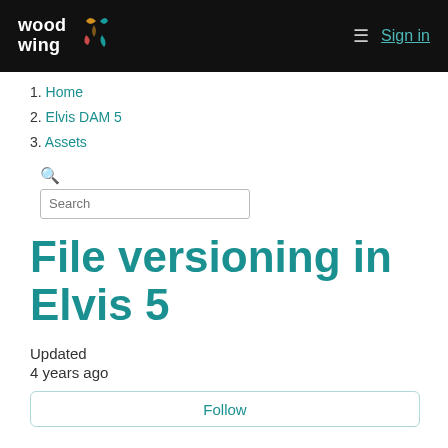WoodWing | Sign in
1. Home
2. Elvis DAM 5
3. Assets
File versioning in Elvis 5
Updated
4 years ago
Follow